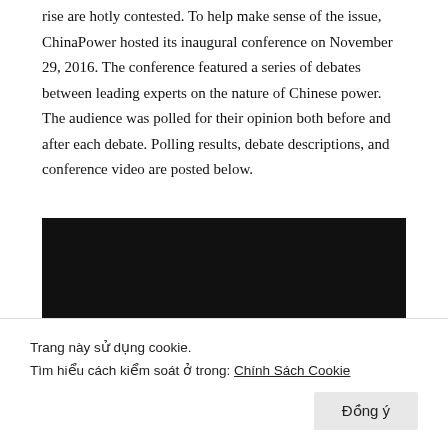rise are hotly contested. To help make sense of the issue, ChinaPower hosted its inaugural conference on November 29, 2016. The conference featured a series of debates between leading experts on the nature of Chinese power. The audience was polled for their opinion both before and after each debate. Polling results, debate descriptions, and conference video are posted below.
[Figure (screenshot): Dark video player thumbnail with a circular play button icon and partially visible text 'Đồng ý đăng ký' or similar Vietnamese text overlay.]
Trang này sử dụng cookie.
Tìm hiểu cách kiểm soát ở trong: Chính Sách Cookie